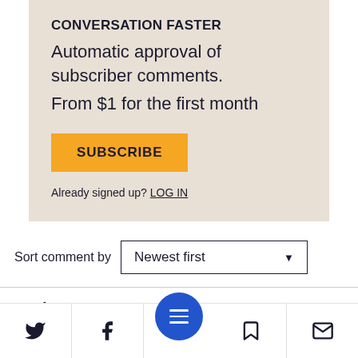CONVERSATION FASTER
Automatic approval of subscriber comments.
From $1 for the first month
SUBSCRIBE
Already signed up? LOG IN
Sort comment by Newest first
In the News
[Figure (screenshot): Bottom navigation bar with Twitter, Facebook, menu (blue circle), bookmark, and email icons]